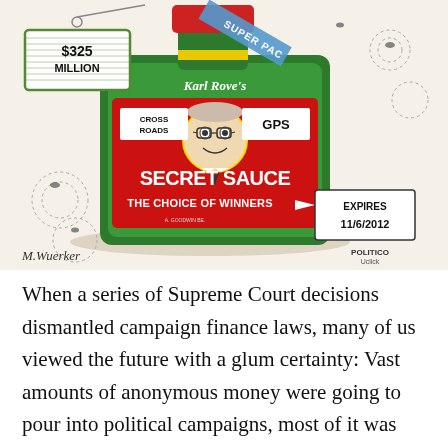[Figure (illustration): Political cartoon by M.Wuerker (Politico/Uclick) showing a large bottle of hot sauce labeled 'Karl Rove's CROSS ROADS GPS SECRET SAUCE THE CHOICE OF WINNERS' with a price tag reading '$325 MILLION' and a ribbon reading 'SUPER PAC'. A tag reads 'EXPIRES 11/6/2012'. The bottle has a caricature of Karl Rove's face. Flies buzz around it.]
When a series of Supreme Court decisions dismantled campaign finance laws, many of us viewed the future with a glum certainty: Vast amounts of anonymous money were going to pour into political campaigns, most of it was going